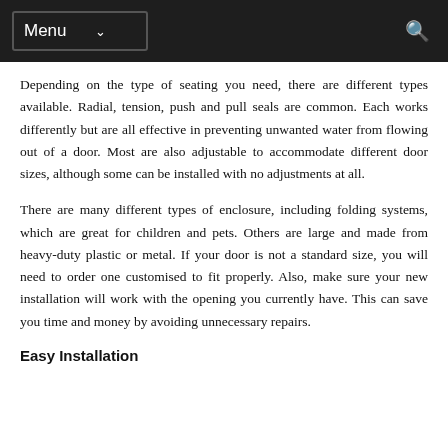Menu
Depending on the type of seating you need, there are different types available. Radial, tension, push and pull seals are common. Each works differently but are all effective in preventing unwanted water from flowing out of a door. Most are also adjustable to accommodate different door sizes, although some can be installed with no adjustments at all.
There are many different types of enclosure, including folding systems, which are great for children and pets. Others are large and made from heavy-duty plastic or metal. If your door is not a standard size, you will need to order one customised to fit properly. Also, make sure your new installation will work with the opening you currently have. This can save you time and money by avoiding unnecessary repairs.
Easy Installation